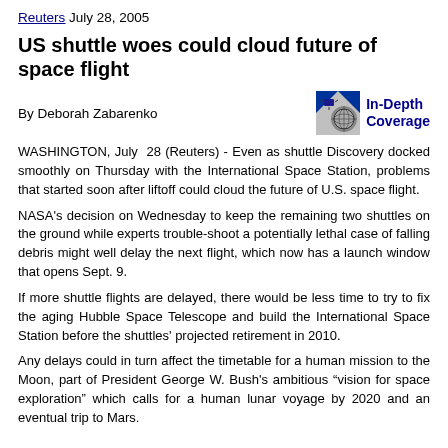Reuters July 28, 2005
US shuttle woes could cloud future of space flight
By Deborah Zabarenko
[Figure (logo): Reuters In-Depth Coverage logo with globe graphic]
WASHINGTON, July 28 (Reuters) - Even as shuttle Discovery docked smoothly on Thursday with the International Space Station, problems that started soon after liftoff could cloud the future of U.S. space flight.
NASA's decision on Wednesday to keep the remaining two shuttles on the ground while experts trouble-shoot a potentially lethal case of falling debris might well delay the next flight, which now has a launch window that opens Sept. 9.
If more shuttle flights are delayed, there would be less time to try to fix the aging Hubble Space Telescope and build the International Space Station before the shuttles' projected retirement in 2010.
Any delays could in turn affect the timetable for a human mission to the Moon, part of President George W. Bush's ambitious “vision for space exploration” which calls for a human lunar voyage by 2020 and an eventual trip to Mars.